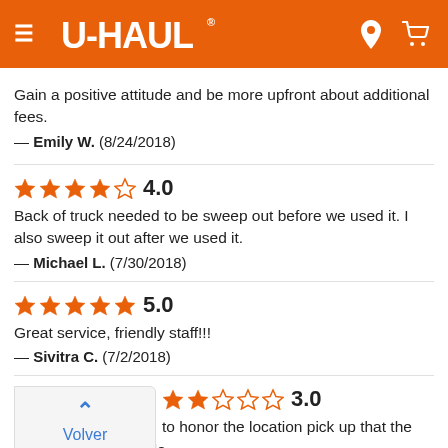[Figure (screenshot): U-Haul app header with orange background, hamburger menu icon, U-Haul logo, and location/cart icons]
Gain a positive attitude and be more upfront about additional fees.
— Emily W.  (8/24/2018)
4.0
Back of truck needed to be sweep out before we used it. I also sweep it out after we used it.
— Michael L.  (7/30/2018)
5.0
Great service, friendly staff!!!
— Sivitra C.  (7/2/2018)
3.0
...to honor the location pick up that the reservation was made ...to get a smaller truck to avoid having to drive 35 miles from where I made the reservation. Still had to go way out of my way to
[Figure (screenshot): Volver arriba back-to-top button overlay]